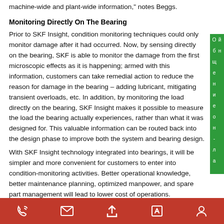machine-wide and plant-wide information," notes Beggs.
Monitoring Directly On The Bearing
Prior to SKF Insight, condition monitoring techniques could only monitor damage after it had occurred. Now, by sensing directly on the bearing, SKF is able to monitor the damage from the first microscopic effects as it is happening; armed with this information, customers can take remedial action to reduce the reason for damage in the bearing – adding lubricant, mitigating transient overloads, etc. In addition, by monitoring the load directly on the bearing, SKF Insight makes it possible to measure the load the bearing actually experiences, rather than what it was designed for. This valuable information can be routed back into the design phase to improve both the system and bearing design.
With SKF Insight technology integrated into bearings, it will be simpler and more convenient for customers to enter into condition-monitoring activities. Better operational knowledge, better maintenance planning, optimized manpower, and spare part management will lead to lower cost of operations.
Footer icons: phone, email, upload, edit, location